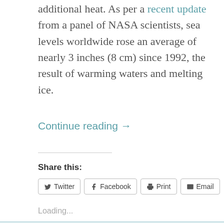additional heat. As per a recent update from a panel of NASA scientists, sea levels worldwide rose an average of nearly 3 inches (8 cm) since 1992, the result of warming waters and melting ice.
Continue reading →
Share this:
Twitter  Facebook  Print  Email
Loading...
'Lettuce' Celebrate NASA's Moment